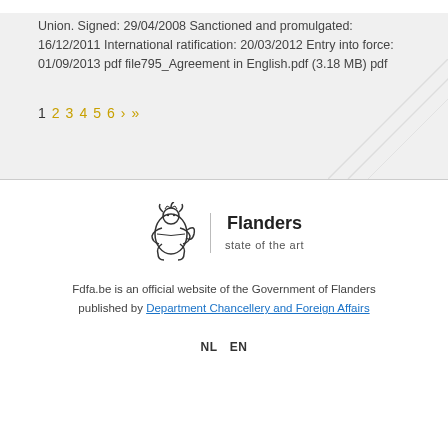Union. Signed: 29/04/2008 Sanctioned and promulgated: 16/12/2011 International ratification: 20/03/2012 Entry into force: 01/09/2013 pdf file795_Agreement in English.pdf (3.18 MB) pdf
1  2  3  4  5  6  ›  »
[Figure (logo): Flanders state of the art logo with stylized lion emblem]
Fdfa.be is an official website of the Government of Flanders published by Department Chancellery and Foreign Affairs
NL  EN